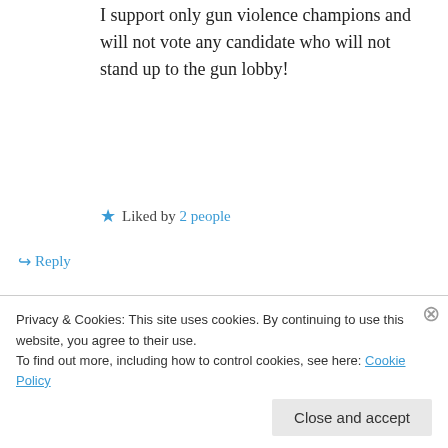I support only gun violence champions and will not vote any candidate who will not stand up to the gun lobby!
Liked by 2 people
Reply
ETM Now on July 13, 2016 at 2:12 pm
Thank you, Scott, for your insight
Privacy & Cookies: This site uses cookies. By continuing to use this website, you agree to their use. To find out more, including how to control cookies, see here: Cookie Policy